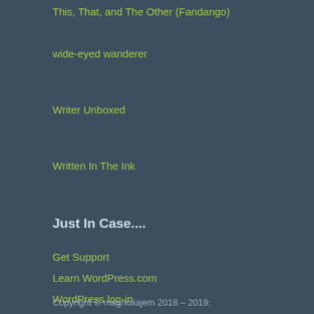This, That, and The Other (Fandango)
wide-eyed wanderer
Writer Unboxed
Written In The Ink
Just In Case....
Get Support
Learn WordPress.com
WordPress log-in
Copyright © magnoliajem 2018 – 2019;